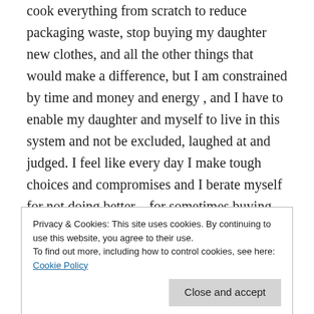would love to give up my car, buy all fresh food and cook everything from scratch to reduce packaging waste, stop buying my daughter new clothes, and all the other things that would make a difference, but I am constrained by time and money and energy , and I have to enable my daughter and myself to live in this system and not be excluded, laughed at and judged. I feel like every day I make tough choices and compromises and I berate myself for not doing better – for sometimes buying soups in plastic containers instead of making my own, for getting my shopping delivered and therefore
Privacy & Cookies: This site uses cookies. By continuing to use this website, you agree to their use.
To find out more, including how to control cookies, see here: Cookie Policy
Close and accept
up and skin care products online that then arrive